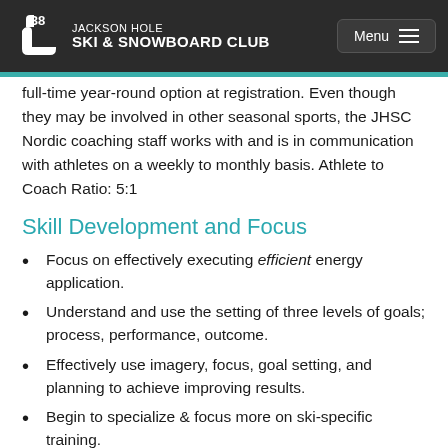JACKSON HOLE SKI & SNOWBOARD CLUB
full-time year-round option at registration. Even though they may be involved in other seasonal sports, the JHSC Nordic coaching staff works with and is in communication with athletes on a weekly to monthly basis. Athlete to Coach Ratio: 5:1
Skill Development and Focus
Focus on effectively executing efficient energy application.
Understand and use the setting of three levels of goals; process, performance, outcome.
Effectively use imagery, focus, goal setting, and planning to achieve improving results.
Begin to specialize & focus more on ski-specific training.
Development of speed